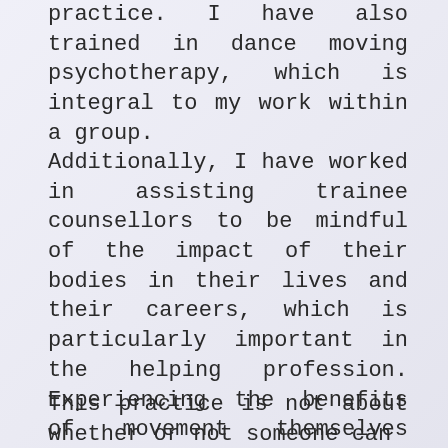practice. I have also trained in dance moving psychotherapy, which is integral to my work within a group.
Additionally, I have worked in assisting trainee counsellors to be mindful of the impact of their bodies in their lives and their careers, which is particularly important in the helping profession. Experiencing the benefits of movement themselves enables counsellors and trainee counsellors to get a sense of how their clients can also benefit from movement.
This practice is not about whether or not someone can